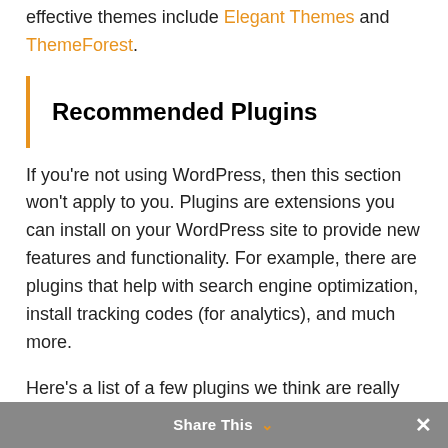effective themes include Elegant Themes and ThemeForest.
Recommended Plugins
If you're not using WordPress, then this section won't apply to you. Plugins are extensions you can install on your WordPress site to provide new features and functionality. For example, there are plugins that help with search engine optimization, install tracking codes (for analytics), and much more.
Here's a list of a few plugins we think are really helpful.
iThemes Security
I'm guessing you're not a website security expert. Despite the fact that I've been developing websites